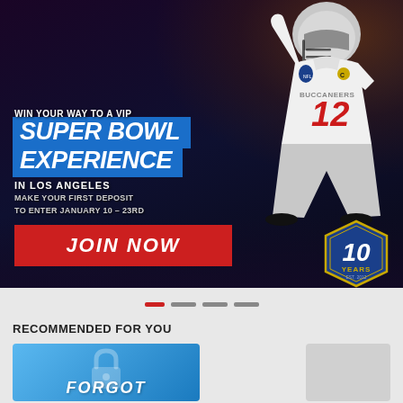[Figure (photo): Hero banner showing NFL quarterback in Buccaneers #12 jersey celebrating, wearing helmet, against dark purple background with palm trees. Blue banner overlays with promotional text. Red JOIN NOW button. 10 Years anniversary badge in bottom right.]
WIN YOUR WAY TO A VIP SUPER BOWL EXPERIENCE IN LOS ANGELES
MAKE YOUR FIRST DEPOSIT TO ENTER JANUARY 10 – 23RD
JOIN NOW
RECOMMENDED FOR YOU
[Figure (screenshot): Partial blue card with lock icon and FORGOT text visible at bottom, part of a carousel of recommended content]